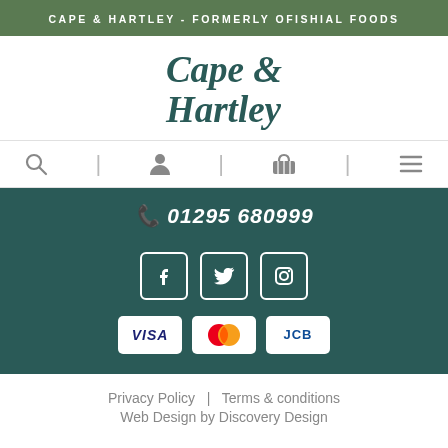CAPE & HARTLEY - FORMERLY OFISHIAL FOODS
[Figure (logo): Cape & Hartley logo in dark teal italic serif font]
[Figure (infographic): Navigation bar with search, user, basket, and menu icons separated by vertical dividers]
01295 680999
[Figure (infographic): Social media icons: Facebook, Twitter, Instagram in white on teal background with rounded square borders]
[Figure (infographic): Payment method icons: VISA, Mastercard, JCB on white rounded rectangle backgrounds]
Privacy Policy  |  Terms & conditions
Web Design by Discovery Design